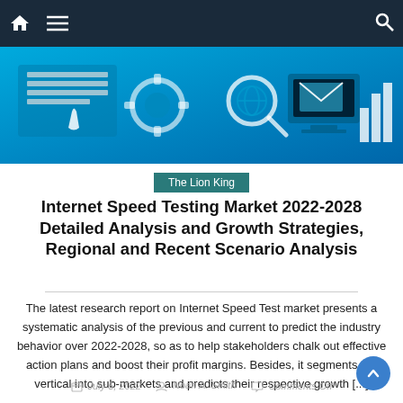[Figure (illustration): Navigation bar with home icon, hamburger menu icon on dark navy background, and search icon on right]
[Figure (illustration): Blue technology banner with icons: keyboard/hand, gear/cog, magnifying glass with globe, monitor/laptop, mail envelope, bar chart]
The Lion King
Internet Speed Testing Market 2022-2028 Detailed Analysis and Growth Strategies, Regional and Recent Scenario Analysis
The latest research report on Internet Speed Test market presents a systematic analysis of the previous and current to predict the industry behavior over 2022-2028, so as to help stakeholders chalk out effective action plans and boost their profit margins. Besides, it segments the vertical into sub-markets and predicts their respective growth [...]
July 5, 2022   Noah A. Smith   Comments Off